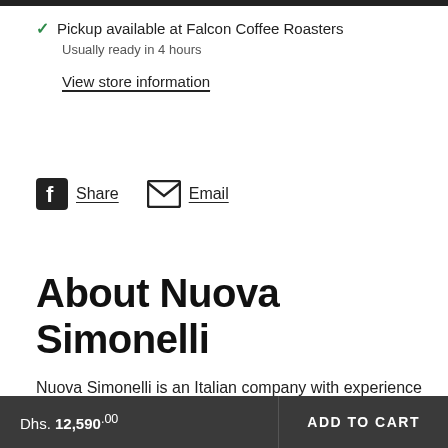✓ Pickup available at Falcon Coffee Roasters
Usually ready in 4 hours
View store information
Share   Email
About Nuova Simonelli
Nuova Simonelli is an Italian company with experience and tradition going back many years. It has been making espresso machines, which exports all over the world since 1936. Today, Nuova Simonelli...
Dhs. 12,590.00   ADD TO CART